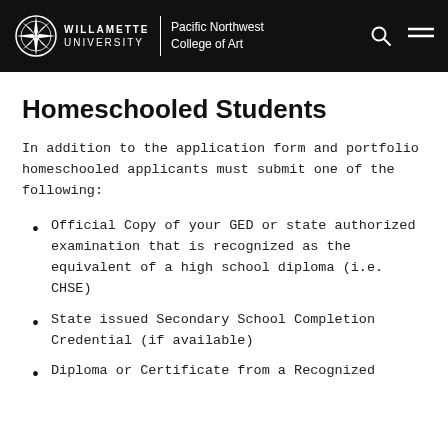WILLAMETTE UNIVERSITY | Pacific Northwest College of Art
Homeschooled Students
In addition to the application form and portfolio homeschooled applicants must submit one of the following:
Official Copy of your GED or state authorized examination that is recognized as the equivalent of a high school diploma (i.e. CHSE)
State issued Secondary School Completion Credential (if available)
Diploma or Certificate from a Recognized